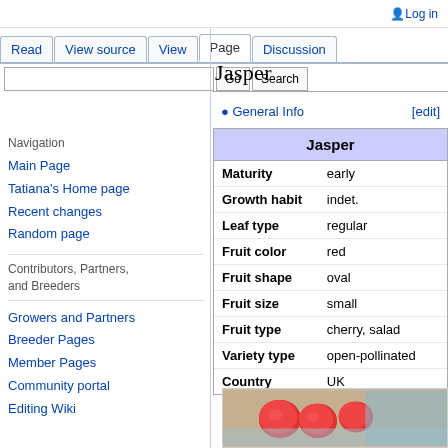Log in
Read | View source | View | Page | Discussion
Jasper
General Info [edit]
Navigation
Main Page
Tatiana's Home page
Recent changes
Random page
Contributors, Partners, and Breeders
Growers and Partners
Breeder Pages
Member Pages
Community portal
Editing Wiki
| Jasper |
| --- |
| Maturity | early |
| Growth habit | indet. |
| Leaf type | regular |
| Fruit color | red |
| Fruit shape | oval |
| Fruit size | small |
| Fruit type | cherry, salad |
| Variety type | open-pollinated |
| Country | UK |
[Figure (photo): Photo of red tomatoes (Jasper variety)]